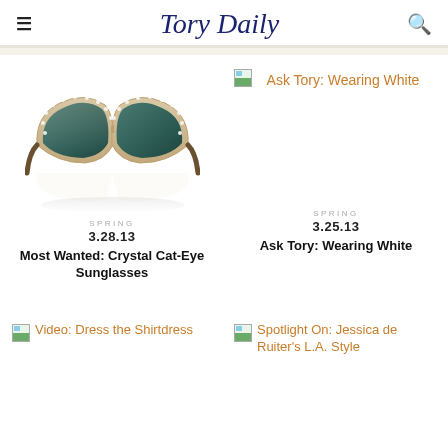Tory Daily
[Figure (screenshot): Small broken image icon for Ask Tory: Wearing White link]
Ask Tory: Wearing White
[Figure (photo): Crystal Cat-Eye Sunglasses product photo — beige/nude frame with rhinestone embellishments around the lens border, dark teal lenses, shown with reflection on white background]
SPRING
3.28.13
Most Wanted: Crystal Cat-Eye Sunglasses
SPRING
3.25.13
Ask Tory: Wearing White
[Figure (screenshot): Small broken image icon for Video: Dress the Shirtdress link]
Video: Dress the Shirtdress
[Figure (screenshot): Small broken image icon for Spotlight On: Jessica de Ruiter's L.A. Style link]
Spotlight On: Jessica de Ruiter's L.A. Style